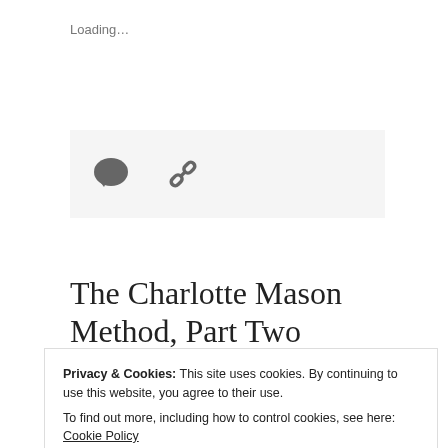Loading…
[Figure (screenshot): Icon bar with comment bubble and chain link icons on a light grey background]
The Charlotte Mason Method, Part Two
January 4, 2017
I last wrote about Charlotte...
Privacy & Cookies: This site uses cookies. By continuing to use this website, you agree to their use.
To find out more, including how to control cookies, see here: Cookie Policy
Close and accept
it's important to understand it so you can